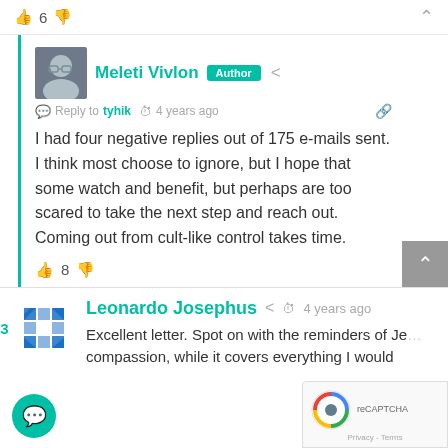the videos, but you... Read more »
👍 6 👎 ▲
Meleti Vivlon [Author] — Reply to tyhik · 4 years ago
I had four negative replies out of 175 e-mails sent. I think most choose to ignore, but I hope that some watch and benefit, but perhaps are too scared to take the next step and reach out. Coming out from cult-like control takes time.
👍 8 👎 ▲
13 — Leonardo Josephus · 4 years ago
Excellent letter. Spot on with the reminders of Je... compassion, while it covers everything I would